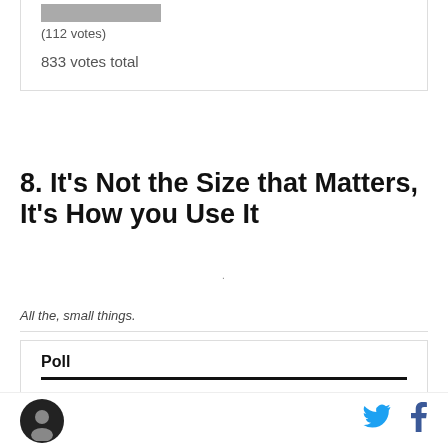(112 votes)
833 votes total
8. It's Not the Size that Matters, It's How you Use It
All the, small things.
Poll
Which state is the smallest Big Ten state by area?